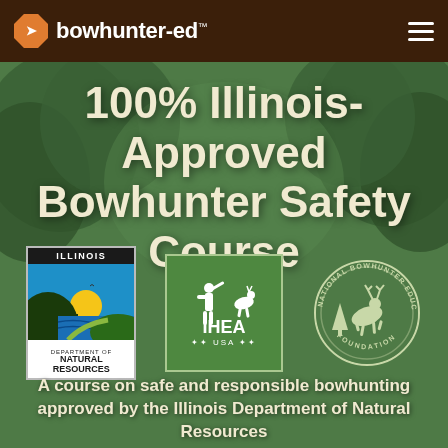bowhunter-ed™
100% Illinois-Approved Bowhunter Safety Course
[Figure (logo): Illinois Department of Natural Resources logo]
[Figure (logo): IHEA USA logo]
[Figure (logo): National Bowhunter Education Foundation circular logo]
A course on safe and responsible bowhunting approved by the Illinois Department of Natural Resources